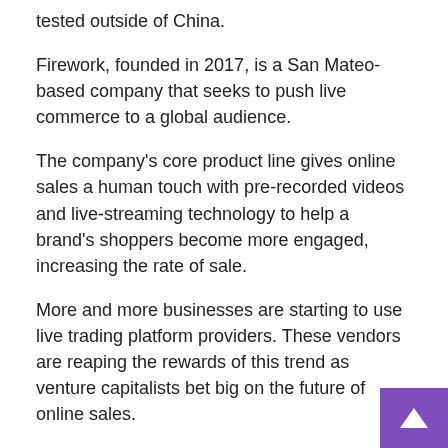tested outside of China.
Firework, founded in 2017, is a San Mateo-based company that seeks to push live commerce to a global audience.
The company’s core product line gives online sales a human touch with pre-recorded videos and live-streaming technology to help a brand’s shoppers become more engaged, increasing the rate of sale.
More and more businesses are starting to use live trading platform providers. These vendors are reaping the rewards of this trend as venture capitalists bet big on the future of online sales.
Both Upmesh and Drip have raised millions for their live-commerce ventures and Firework has now joined them, raising $150M in Series B funding at a $750M valuation.
That $150 million now brings Firework’s total disclosed funding to $269.9 million…